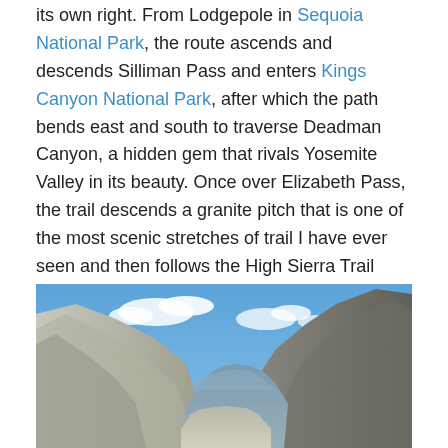its own right. From Lodgepole in Sequoia National Park, the route ascends and descends Silliman Pass and enters Kings Canyon National Park, after which the path bends east and south to traverse Deadman Canyon, a hidden gem that rivals Yosemite Valley in its beauty. Once over Elizabeth Pass, the trail descends a granite pitch that is one of the most scenic stretches of trail I have ever seen and then follows the High Sierra Trail westward back to the Giant Forest in Sequoia.

See my post on August 22, 2021 for a full trail description.
[Figure (photo): Panoramic mountain valley photo showing granite slopes under a blue sky with clouds, depicting a high sierra canyon scene]